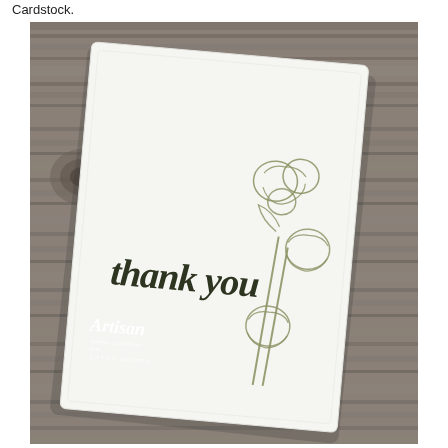Cardstock.
[Figure (photo): A handmade thank you card photographed on a rustic wood surface. The white card features the script text 'thank you' stamped in dark olive/green ink, with floral outline illustrations (poppies) also in olive/gold on the right side. An 'Artisan' Stampin' Up! logo with 'CATHY GAINES' is visible in the lower left of the image. The card appears slightly angled on the wooden background.]